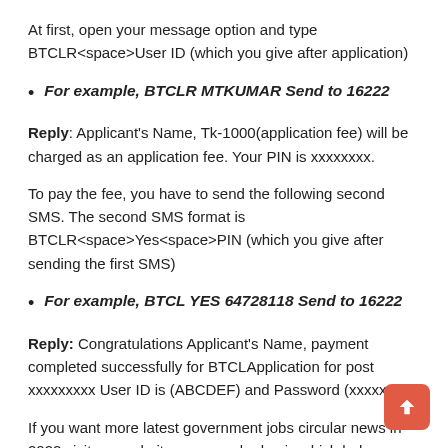At first, open your message option and type BTCLR<space>User ID (which you give after application)
For example, BTCLR MTKUMAR Send to 16222
Reply: Applicant's Name, Tk-1000(application fee) will be charged as an application fee. Your PIN is xxxxxxxx.
To pay the fee, you have to send the following second SMS. The second SMS format is BTCLR<space>Yes<space>PIN (which you give after sending the first SMS)
For example, BTCL YES 64728118 Send to 16222
Reply: Congratulations Applicant's Name, payment completed successfully for BTCLApplication for post xxxxxxxxx User ID is (ABCDEF) and Password (xxxxxxxx).
If you want more latest government jobs circular news in 2022 visit our website on a regular basis which helps you will get all jobs